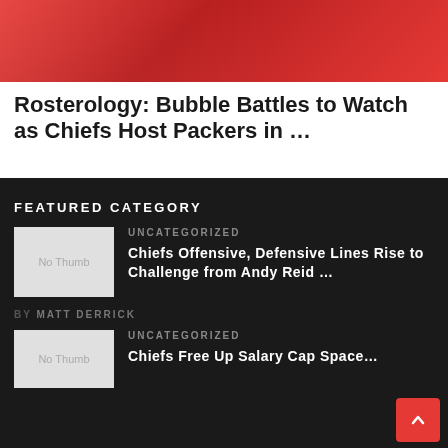[Figure (photo): Kansas City Chiefs football player in red uniform, partial view]
Rosterology: Bubble Battles to Watch as Chiefs Host Packers in ...
FEATURED CATEGORY
[Figure (photo): No Thumb placeholder image]
UNCATEGORIZED
Chiefs Offensive, Defensive Lines Rise to Challenge from Andy Reid ...
BY MATT DERRICK
[Figure (photo): No Thumb placeholder image]
UNCATEGORIZED
Chiefs Free Up Salary Cap Space...